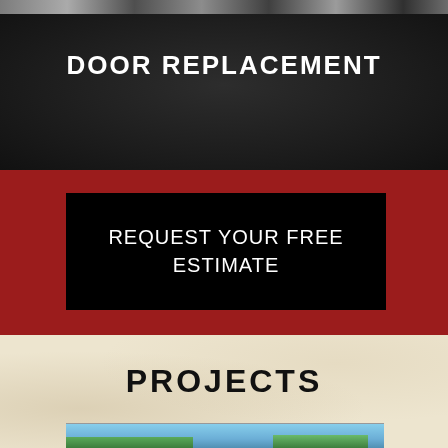[Figure (photo): Partial view of door replacement photos at top of page, cropped]
DOOR REPLACEMENT
[Figure (other): Red background section with black button containing call-to-action text]
REQUEST YOUR FREE ESTIMATE
PROJECTS
[Figure (photo): Partially visible photo at bottom of page showing blue sky and trees]